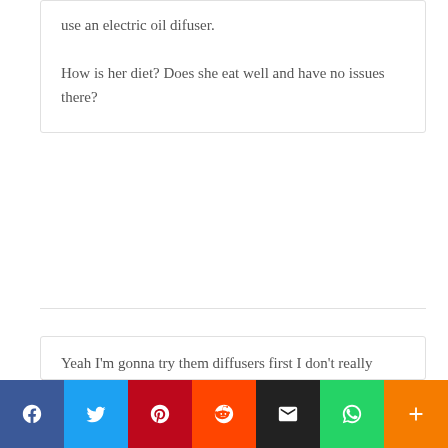use an electric oil difuser.

How is her diet? Does she eat well and have no issues there?
Rebecca Mann
July 31, 2017 at 4:27 pm
Yeah I'm gonna try them diffusers first I don't really want her to be medicated as it can be expensive too with the vets just not a route I